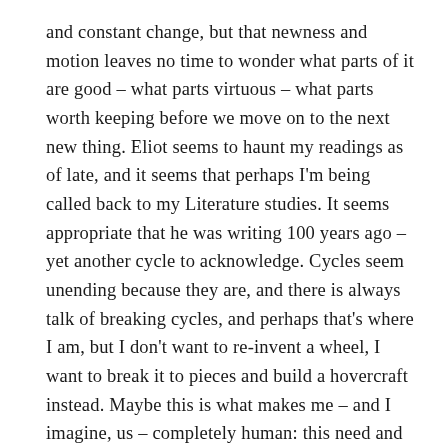and constant change, but that newness and motion leaves no time to wonder what parts of it are good – what parts virtuous – what parts worth keeping before we move on to the next new thing. Eliot seems to haunt my readings as of late, and it seems that perhaps I'm being called back to my Literature studies. It seems appropriate that he was writing 100 years ago – yet another cycle to acknowledge. Cycles seem unending because they are, and there is always talk of breaking cycles, and perhaps that's where I am, but I don't want to re-invent a wheel, I want to break it to pieces and build a hovercraft instead. Maybe this is what makes me – and I imagine, us – completely human: this need and want to always create, and the inability to base that creation on anything but a very small and individual-self-focused vision of the world.